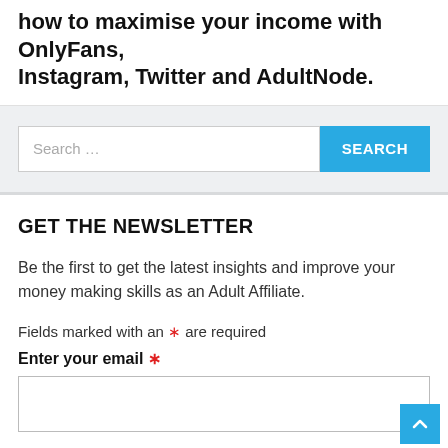how to maximise your income with OnlyFans, Instagram, Twitter and AdultNode.
[Figure (screenshot): Search bar with text input field showing placeholder 'Search ...' and a blue SEARCH button]
GET THE NEWSLETTER
Be the first to get the latest insights and improve your money making skills as an Adult Affiliate.
Fields marked with an * are required
Enter your email *
Yes sign me up!